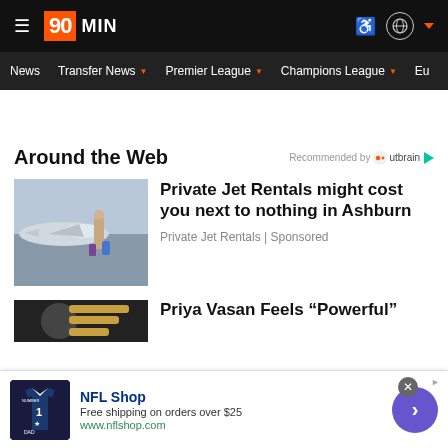90MIN — News | Transfer News | Premier League | Champions League | Eu
Around the Web
Recommended by Outbrain
[Figure (photo): Woman with luggage in front of private jet at hangar]
Private Jet Rentals might cost you next to nothing in Ashburn
Private Jet Rentals | Sponsored
[Figure (photo): Partial view of second article image]
Priya Vasan Feels “Powerful”
[Figure (photo): NFL Shop advertisement banner with Dallas Cowboys jersey thumbnail]
NFL Shop
Free shipping on orders over $25
www.nflshop.com